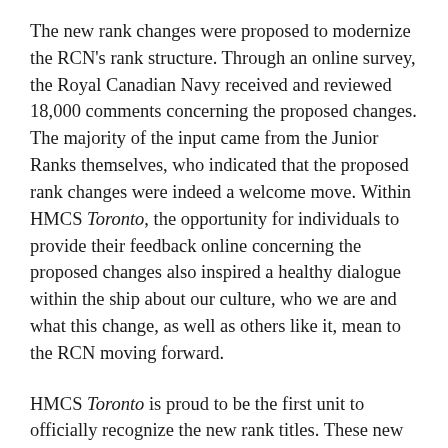The new rank changes were proposed to modernize the RCN's rank structure. Through an online survey, the Royal Canadian Navy received and reviewed 18,000 comments concerning the proposed changes. The majority of the input came from the Junior Ranks themselves, who indicated that the proposed rank changes were indeed a welcome move. Within HMCS Toronto, the opportunity for individuals to provide their feedback online concerning the proposed changes also inspired a healthy dialogue within the ship about our culture, who we are and what this change, as well as others like it, mean to the RCN moving forward.
HMCS Toronto is proud to be the first unit to officially recognize the new rank titles. These new rank titles: Sailor 3rd Class, Sailor 2nd Class, Sailor 1st Class and Master Sailor speak to our commitment of embracing the diverse nature of today's Navy. These changes also have the added benefit of aligning the English and designations with the existing...